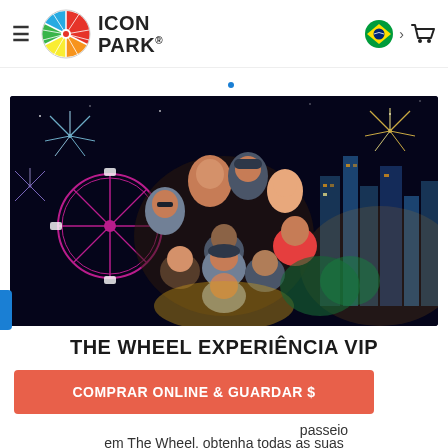[Figure (logo): Icon Park logo with colorful wheel icon and bold text ICON PARK]
[Figure (photo): Group of people photographed from above in a circular fish-eye composition showing a Ferris wheel, city skyline, fireworks at night, forming a tiny planet effect]
THE WHEEL EXPERIÊNCIA VIP
COMPRAR ONLINE & GUARDAR $
passeio em The Wheel, obtenha todas as suas